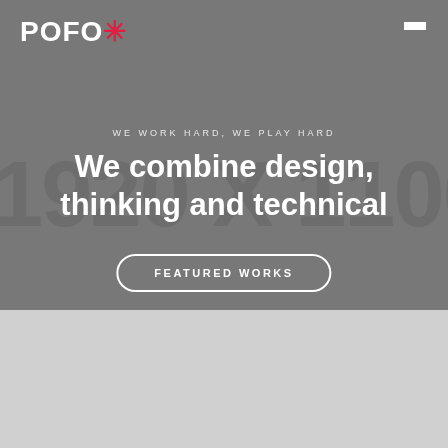POFO* [logo] [hamburger menu]
WE WORK HARD, WE PLAY HARD
We combine design, thinking and technical
[Figure (other): Large background watermark text reading '1920 X 1100']
FEATURED WORKS
Ta strona korzysta z ciasteczek aby świadczyć usługi na najwyższym poziomie. Dalsze korzystanie ze strony oznacza, że zgadzasz się na ich użycie.
Zgoda  Polityka prywatności